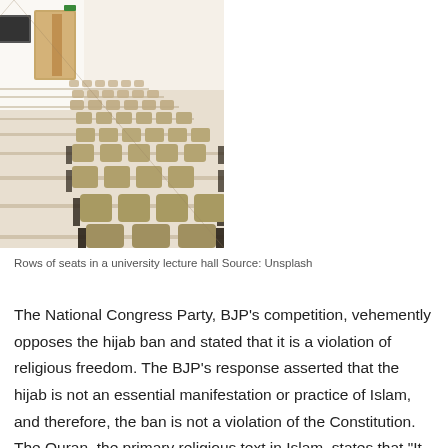[Figure (photo): Rows of empty wooden seats in a university lecture hall, perspective view showing many rows receding toward two wooden doors at the back under bright ceiling lighting.]
Rows of seats in a university lecture hall Source: Unsplash
The National Congress Party, BJP’s competition, vehemently opposes the hijab ban and stated that it is a violation of religious freedom. The BJP’s response asserted that the hijab is not an essential manifestation or practice of Islam, and therefore, the ban is not a violation of the Constitution. The Quran, the primary religious text in Islam, states that “It is not